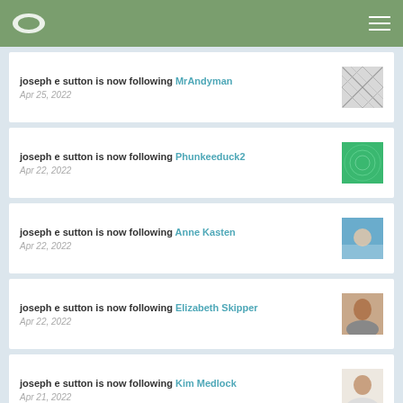Navigation header with logo and menu
joseph e sutton is now following MrAndyman — Apr 25, 2022
joseph e sutton is now following Phunkeeduck2 — Apr 22, 2022
joseph e sutton is now following Anne Kasten — Apr 22, 2022
joseph e sutton is now following Elizabeth Skipper — Apr 22, 2022
joseph e sutton is now following Kim Medlock — Apr 21, 2022
joseph e sutton is now following alazay337 — Apr 21, 2022